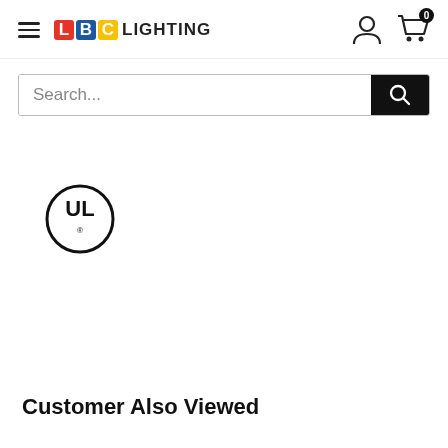[Figure (logo): LBC Lighting logo with hamburger menu icon on left, user and cart icons on right]
[Figure (screenshot): Search bar with text 'Search...' and black search button on right]
[Figure (logo): UL certification badge/logo]
Customer Also Viewed